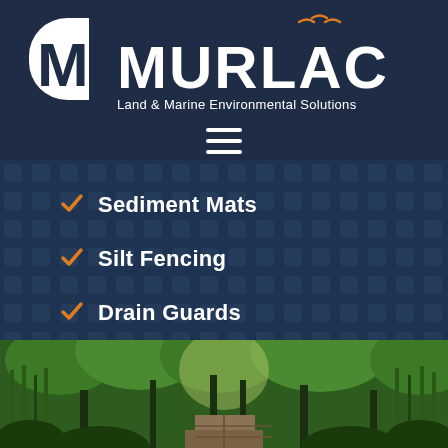[Figure (logo): MURLAC Land & Marine Environmental Solutions logo — white leaf/shield icon with large bold white MURLAC text and orange seagull flourishes, tagline 'Land & Marine Environmental Solutions' below]
Sediment Mats
Silt Fencing
Drain Guards
FIND OUT MORE INFORMATION
[Figure (photo): Bottom strip photo of a lush green wetland/mangrove forest with tall reeds and a wooden boardwalk path leading into the trees]